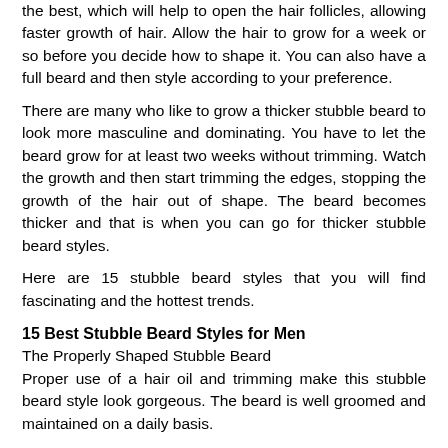the best, which will help to open the hair follicles, allowing faster growth of hair. Allow the hair to grow for a week or so before you decide how to shape it. You can also have a full beard and then style according to your preference.
There are many who like to grow a thicker stubble beard to look more masculine and dominating. You have to let the beard grow for at least two weeks without trimming. Watch the growth and then start trimming the edges, stopping the growth of the hair out of shape. The beard becomes thicker and that is when you can go for thicker stubble beard styles.
Here are 15 stubble beard styles that you will find fascinating and the hottest trends.
15 Best Stubble Beard Styles for Men
The Properly Shaped Stubble Beard
Proper use of a hair oil and trimming make this stubble beard style look gorgeous. The beard is well groomed and maintained on a daily basis.
Simple Stubble Beard
You need not always wear a professional beard style to look outstanding. Simple stubble beards like this mid-length one can make you look awesome.